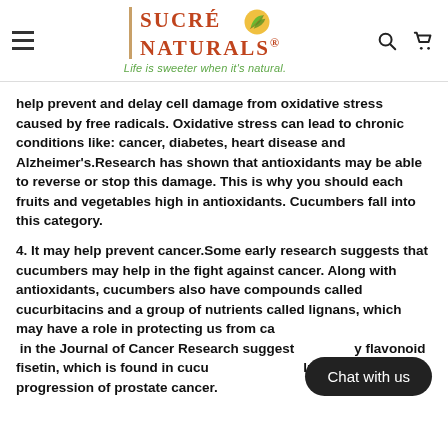Sucré Naturals® — Life is sweeter when it's natural.
help prevent and delay cell damage from oxidative stress caused by free radicals. Oxidative stress can lead to chronic conditions like: cancer, diabetes, heart disease and Alzheimer's.Research has shown that antioxidants may be able to reverse or stop this damage. This is why you should each fruits and vegetables high in antioxidants. Cucumbers fall into this category.
4. It may help prevent cancer.Some early research suggests that cucumbers may help in the fight against cancer. Along with antioxidants, cucumbers also have compounds called cucurbitacins and a group of nutrients called lignans, which may have a role in protecting us from ca... in the Journal of Cancer Research suggest...y flavonoid fisetin, which is found in cucum... lp to slow the progression of prostate cancer.